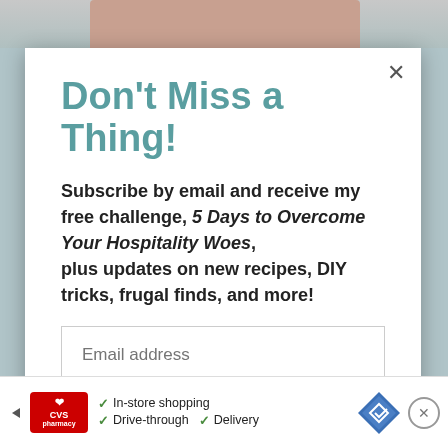Don't Miss a Thing!
Subscribe by email and receive my free challenge, 5 Days to Overcome Your Hospitality Woes, plus updates on new recipes, DIY tricks, frugal finds, and more!
Email address
SUBSCRIBE
[Figure (infographic): CVS Pharmacy advertisement banner showing In-store shopping, Drive-through, and Delivery options with CVS logo and navigation arrow icon]